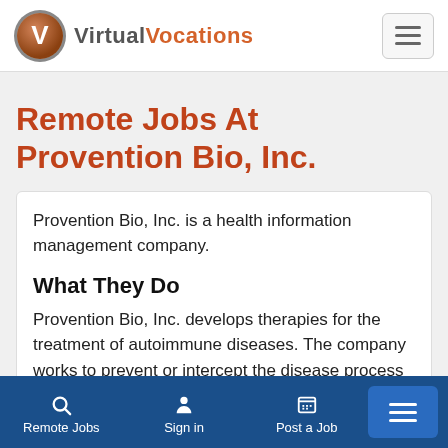Virtual Vocations
Remote Jobs At Provention Bio, Inc.
Provention Bio, Inc. is a health information management company.
What They Do
Provention Bio, Inc. develops therapies for the treatment of autoimmune diseases. The company works to prevent or intercept the disease process and improve patient outcomes
Remote Jobs  Sign in  Post a Job  Menu